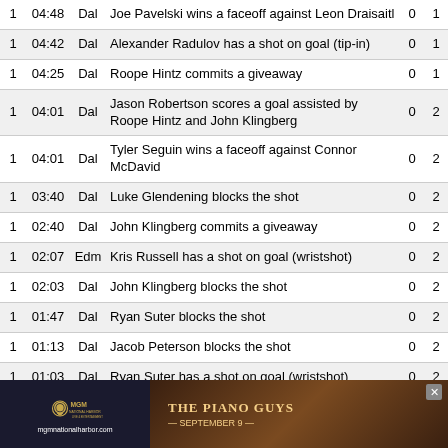| Per | Time | Team | Description | Away | Home |
| --- | --- | --- | --- | --- | --- |
| 1 | 04:48 | Dal | Joe Pavelski wins a faceoff against Leon Draisaitl | 0 | 1 |
| 1 | 04:42 | Dal | Alexander Radulov has a shot on goal (tip-in) | 0 | 1 |
| 1 | 04:25 | Dal | Roope Hintz commits a giveaway | 0 | 1 |
| 1 | 04:01 | Dal | Jason Robertson scores a goal assisted by Roope Hintz and John Klingberg | 0 | 2 |
| 1 | 04:01 | Dal | Tyler Seguin wins a faceoff against Connor McDavid | 0 | 2 |
| 1 | 03:40 | Dal | Luke Glendening blocks the shot | 0 | 2 |
| 1 | 02:40 | Dal | John Klingberg commits a giveaway | 0 | 2 |
| 1 | 02:07 | Edm | Kris Russell has a shot on goal (wristshot) | 0 | 2 |
| 1 | 02:03 | Dal | John Klingberg blocks the shot | 0 | 2 |
| 1 | 01:47 | Dal | Ryan Suter blocks the shot | 0 | 2 |
| 1 | 01:13 | Dal | Jacob Peterson blocks the shot | 0 | 2 |
| 1 | 01:03 | Dal | Ryan Suter has a shot on goal (wristshot) | 0 | 2 |
[Figure (other): MGM advertisement banner with THE PIANO GUYS SEPTEMBER 9 event promotion]